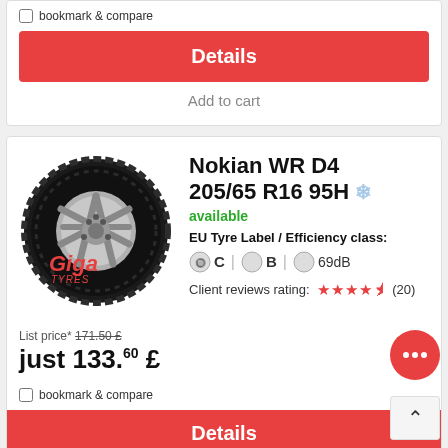bookmark & compare
Details
Add to cart
[Figure (photo): Nokian WR D4 winter tyre with Giga Tyres watermark]
Nokian WR D4 205/65 R16 95H
available
EU Tyre Label / Efficiency class:
C  B  69dB
Client reviews rating: (20)
List price* 171.50 £
just 133.60 £
bookmark & compare
Details